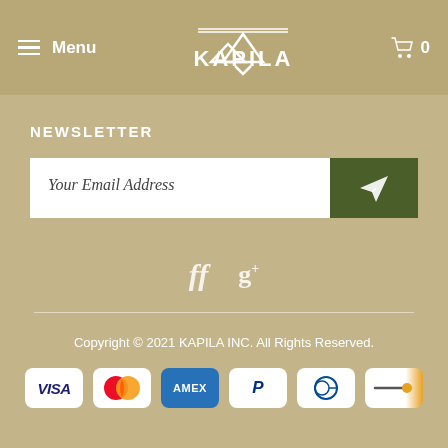Menu | KAPILA | Cart 0
NEWSLETTER
Your Email Address
[Figure (logo): Social media icons: Facebook (ff) and Google+ (g+)]
Copyright © 2021 KAPILA INC. All Rights Reserved.
[Figure (infographic): Payment method icons: VISA, Mastercard, AMEX, PayPal, Diners Club, and one more payment method]